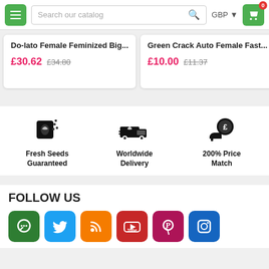[Figure (screenshot): Navigation header with hamburger menu, search bar, GBP currency selector, and shopping cart icon with 0 badge]
Do-lato Female Feminized Big...
£30.62  £34.80
Green Crack Auto Female Fast...
£10.00  £11.37
Dolato
[Figure (illustration): Fresh Seeds Guaranteed icon - seed packet with sparkles]
Fresh Seeds Guaranteed
[Figure (illustration): Worldwide Delivery icon - delivery truck with leaf]
Worldwide Delivery
[Figure (illustration): 200% Price Match icon - coin with pound sign]
200% Price Match
FOLLOW US
[Figure (illustration): Social media icons row: chat (green), Twitter (blue), RSS (orange), YouTube (red), Pinterest (red), Instagram (blue)]